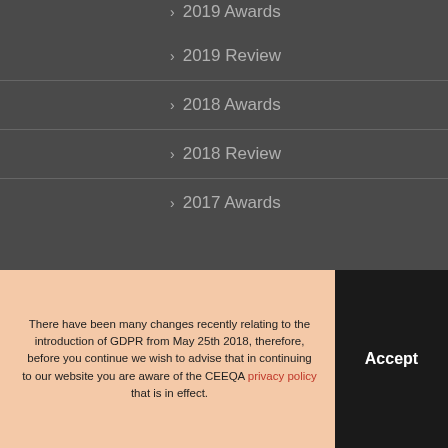› 2019 Awards
› 2019 Review
› 2018 Awards
› 2018 Review
› 2017 Awards
There have been many changes recently relating to the introduction of GDPR from May 25th 2018, therefore, before you continue we wish to advise that in continuing to our website you are aware of the CEEQA privacy policy that is in effect.
Accept